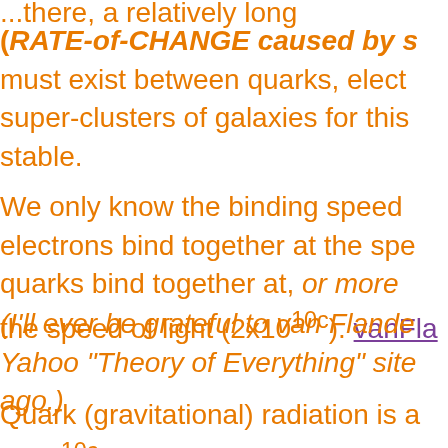...there, a relatively long (RATE-of-CHANGE caused by s must exist between quarks, elect super-clusters of galaxies for this stable.
We only know the binding speed electrons bind together at the spe quarks bind together at, or more the speed of light (2x10^10c). vanFla...
(I'll ever be grateful to van Flande Yahoo "Theory of Everything" site ago.)
Quark (gravitational) radiation is a 2x10^10c in velocity, and in a sim 2x10^10 of the electron in sp...